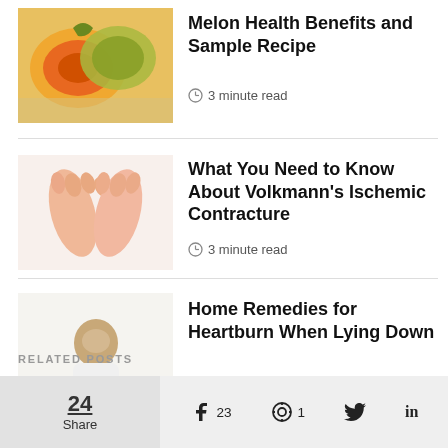[Figure (photo): Photo of sliced cantaloupe/melon on white background]
Melon Health Benefits and Sample Recipe
3 minute read
[Figure (photo): Photo of two hands with palms facing up showing reddened skin]
What You Need to Know About Volkmann's Ischemic Contracture
3 minute read
[Figure (photo): Photo of a person in white clothing holding their stomach area]
Home Remedies for Heartburn When Lying Down
3 minute read
RELATED POSTS
24 Share   23   1
in